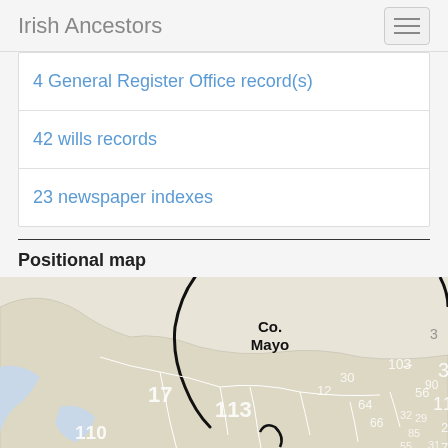Irish Ancestors
4 General Register Office record(s)
42 wills records
23 newspaper indexes
Positional map
[Figure (map): Positional map of Co. Mayo, Ireland showing numbered districts/parishes including 17, 110, 11, 113, 109, 61, 12, 30, 64, 66, 23, 68, 103, 56, 90, 32, 29, 85, 55, 5, 3, 38, 119, 25, 73, 31, 90]